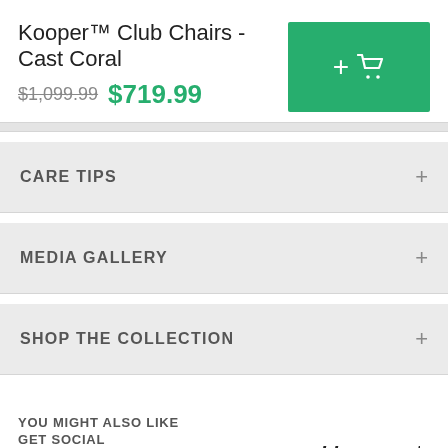Kooper™ Club Chairs - Cast Coral
$1,099.99  $719.99
CARE TIPS
MEDIA GALLERY
SHOP THE COLLECTION
YOU MIGHT ALSO LIKE
GET SOCIAL
Win prizes, be featured, stay updated.
[Figure (logo): #myRST handwritten hashtag logo]